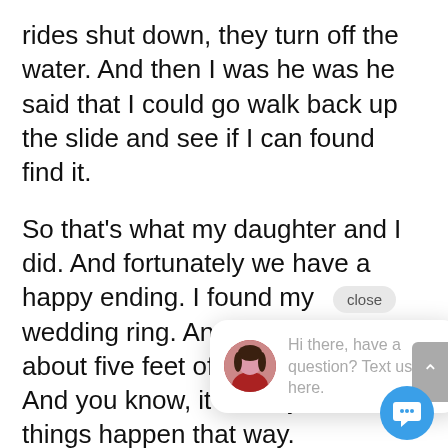rides shut down, they turn off the water. And then I was he was he said that I could go walk back up the slide and see if I can found find it.
So that's what my daughter and I did. And fortunately we have a happy ending. I found my wedding ring. And it was within about five feet of where I lost it. And you know, it's funny how things happen that way.
We I was i friend in t dropped h. it obviously went down to the bottom of the ocean is about 80 feet down And then so we went back and we g some scuba gear. And we went and
[Figure (screenshot): Chat popup overlay with avatar photo of a woman and text 'Hi there, have a question? Text us here.' with close button and scroll/chat bubble buttons.]